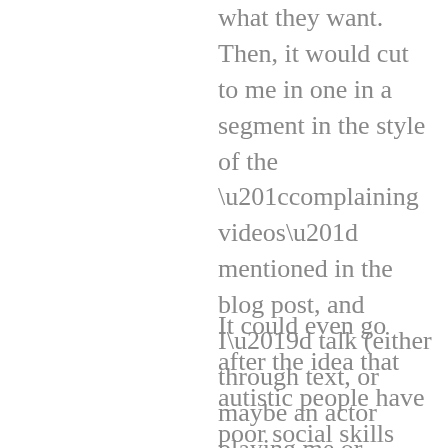what they want. Then, it would cut to me in one in a segment in the style of the “complaining videos” mentioned in the blog post, and I’d talk (either through text, or maybe an actor playing me or something) about how hard it is for me as someone who has to deal with neurotypical people.
It could even go after the idea that autistic people have poor social skills and an inability to read non-verbal cues, by pointing out how the neurotypical people misinterpret or otherwise are unable to read the social cues I show. You know, like pausing what I’m doing for a couple of seconds to look up at them with an